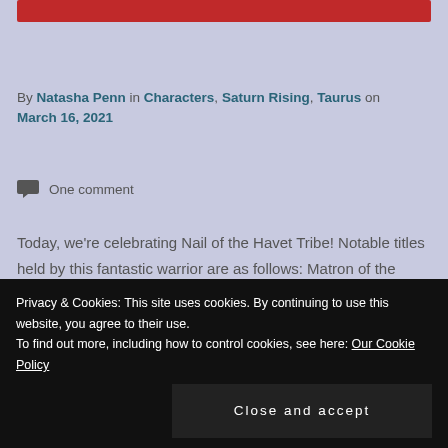[Figure (other): Red decorative bar at the top of the page]
By Natasha Penn in Characters, Saturn Rising, Taurus on March 16, 2021
One comment
Today, we're celebrating Nail of the Havet Tribe! Notable titles held by this fantastic warrior are as follows: Matron of the Kainai demons. The Viper. Mommy.
Privacy & Cookies: This site uses cookies. By continuing to use this website, you agree to their use. To find out more, including how to control cookies, see here: Our Cookie Policy
Close and accept